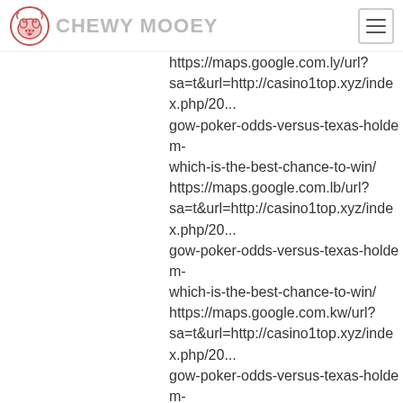Chewy Mooey
https://maps.google.com.ly/url?sa=t&url=http://casino1top.xyz/index.php/20...gow-poker-odds-versus-texas-holdem-which-is-the-best-chance-to-win/ https://maps.google.com.lb/url?sa=t&url=http://casino1top.xyz/index.php/20...gow-poker-odds-versus-texas-holdem-which-is-the-best-chance-to-win/ https://maps.google.com.kw/url?sa=t&url=http://casino1top.xyz/index.php/20...gow-poker-odds-versus-texas-holdem-which-is-the-best-chance-to-win/ https://maps.google.com.kh/url?sa=t&url=http://casino1top.xyz/index.php/20...gow-poker-odds-versus-texas-holdem-which-is-the-best-chance-to-win/ https://maps.google.com.jm/url?sa=t&url=http://casino1top.xyz/index.php/20...gow-poker-odds-versus-texas-holdem-which-is-the-best-chance-to-win/